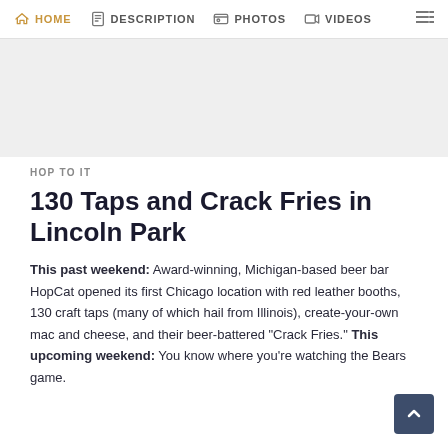HOME | DESCRIPTION | PHOTOS | VIDEOS
[Figure (photo): Gray image placeholder area for article photo]
HOP TO IT
130 Taps and Crack Fries in Lincoln Park
This past weekend: Award-winning, Michigan-based beer bar HopCat opened its first Chicago location with red leather booths, 130 craft taps (many of which hail from Illinois), create-your-own mac and cheese, and their beer-battered "Crack Fries." This upcoming weekend: You know where you're watching the Bears game.